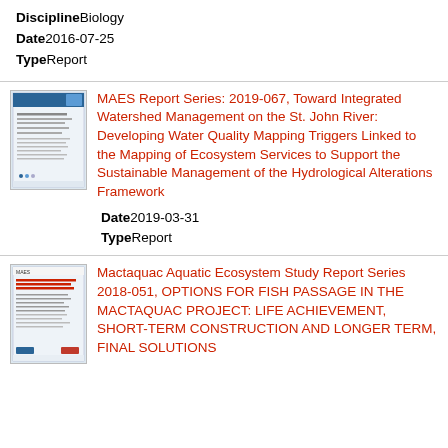Discipline: Biology
Date: 2016-07-25
Type: Report
[Figure (other): Thumbnail of a report document cover]
MAES Report Series: 2019-067, Toward Integrated Watershed Management on the St. John River: Developing Water Quality Mapping Triggers Linked to the Mapping of Ecosystem Services to Support the Sustainable Management of the Hydrological Alterations Framework
Date: 2019-03-31
Type: Report
[Figure (other): Thumbnail of the Mactaquac Aquatic Ecosystem Study report cover]
Mactaquac Aquatic Ecosystem Study Report Series 2018-051, OPTIONS FOR FISH PASSAGE IN THE MACTAQUAC PROJECT: LIFE ACHIEVEMENT, SHORT-TERM CONSTRUCTION AND LONGER TERM, FINAL SOLUTIONS